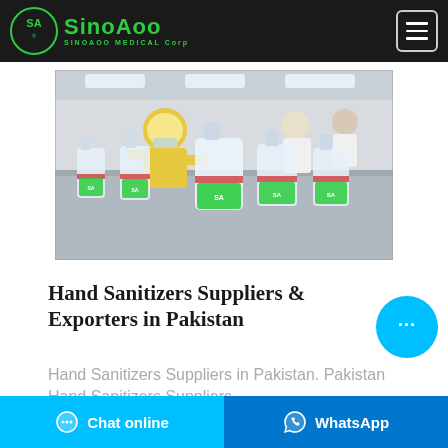SinoAoo Medical Corp
[Figure (photo): Factory workers in white coats and one in a yellow cap working at a production line with many bottles of hand sanitizer displaying green Sinoaoo labels]
Hand Sanitizers Suppliers & Exporters in Pakistan
Hand Sanitizers Suppliers in Pakistan. Pakistan Hand Sanitizers Suppliers
Chat online | WhatsApp